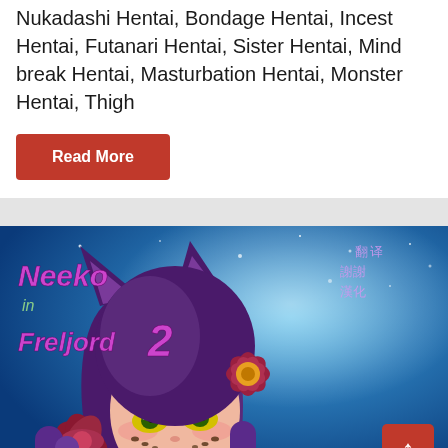Nukadashi Hentai, Bondage Hentai, Incest Hentai, Futanari Hentai, Sister Hentai, Mind break Hentai, Masturbation Hentai, Monster Hentai, Thigh
Read More
[Figure (illustration): Manga/anime style cover art for 'Neeko in Freljord 2' featuring a purple-haired anime girl with cat ears and yellow eyes, wearing a flower in her hair, with Chinese text in the top right corner. A red scroll-to-top button is in the bottom right.]